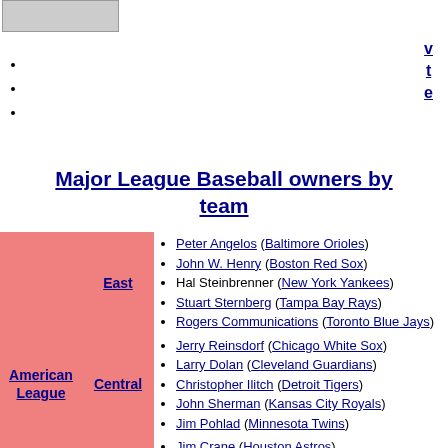[Figure (other): Gray image placeholder in top left]
v
t
e
Major League Baseball owners by team
| League | Division | Owners |
| --- | --- | --- |
| American League | East | Peter Angelos (Baltimore Orioles)
John W. Henry (Boston Red Sox)
Hal Steinbrenner (New York Yankees)
Stuart Sternberg (Tampa Bay Rays)
Rogers Communications (Toronto Blue Jays) |
| American League | Central | Jerry Reinsdorf (Chicago White Sox)
Larry Dolan (Cleveland Guardians)
Christopher Ilitch (Detroit Tigers)
John Sherman (Kansas City Royals)
Jim Pohlad (Minnesota Twins) |
| American League | West | Jim Crane (Houston Astros)
Arte Moreno (Los Angeles Angels)
John J. Fisher (Oakland Athletics)
John W. Stanton (Seattle Mariners)
Ray Davis and Bob R. Simpson (Texas...) |